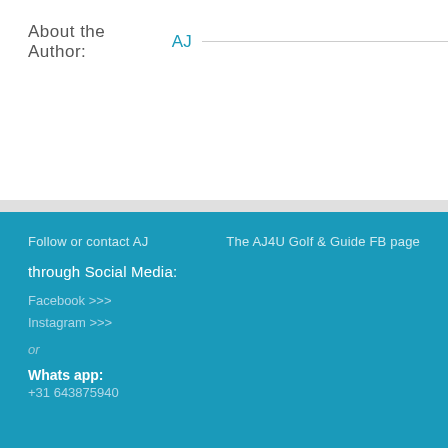About the Author: AJ
Follow or contact AJ
The AJ4U Golf & Guide FB page
through Social Media:
Facebook >>>
Instagram >>>
or
Whats app:
+31 643875940